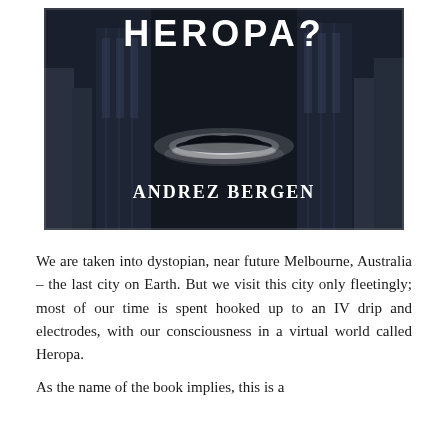[Figure (illustration): Book cover of 'Heropa?' by Andrez Bergen. Dark dystopian art deco style cover showing a city skyline in dark blues and grays, with a glowing white circular light/saucer in the center and the title 'HEROPA?' at the top in white blocky letters, and 'ANDREZ BERGEN' at the bottom in bold white serif letters.]
We are taken into dystopian, near future Melbourne, Australia – the last city on Earth. But we visit this city only fleetingly; most of our time is spent hooked up to an IV drip and electrodes, with our consciousness in a virtual world called Heropa.
As the name of the book implies, this is a